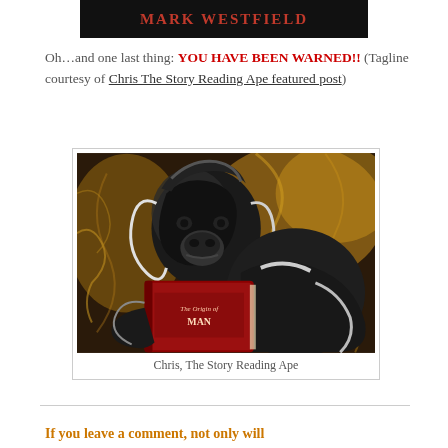[Figure (illustration): Black background banner with red bold text reading MARK WESTFIELD in uppercase serif letters]
Oh…and one last thing: YOU HAVE BEEN WARNED!! (Tagline courtesy of Chris The Story Reading Ape featured post)
[Figure (photo): Stylized digital painting of an ape reading a red book titled 'The Origin of MAN', with dramatic black and white and golden swirling fur details]
Chris, The Story Reading Ape
If you leave a comment, not only will